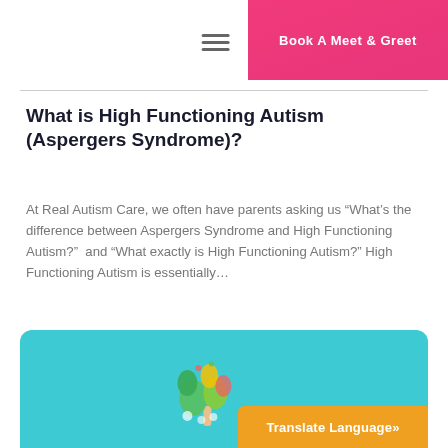Book A Meet & Greet
What is High Functioning Autism (Aspergers Syndrome)?
At Real Autism Care, we often have parents asking us “What’s the difference between Aspergers Syndrome and High Functioning Autism?”  and “What exactly is High Functioning Autism?” High Functioning Autism is essentially…
Read More →
[Figure (illustration): Teal card with a colorful tree illustration and an orange Translate Language button at bottom right]